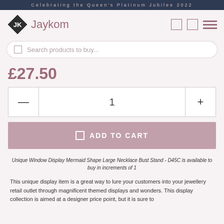Celebrating the Queen's Platinum Jubilee 2022
[Figure (logo): Jaykom logo with diamond shape icon and text]
[Figure (screenshot): Search bar with placeholder text 'Search products to buy...']
£27.50
[Figure (screenshot): Quantity selector with minus button, quantity 1, and plus button]
[Figure (screenshot): ADD TO CART button in dusty pink/mauve color]
Unique Window Display Mermaid Shape Large Necklace Bust Stand - D45C is available to buy in increments of 1
This unique display item is a great way to lure your customers into your jewellery retail outlet through magnificent themed displays and wonders. This display collection is aimed at a designer price point, but it is sure to